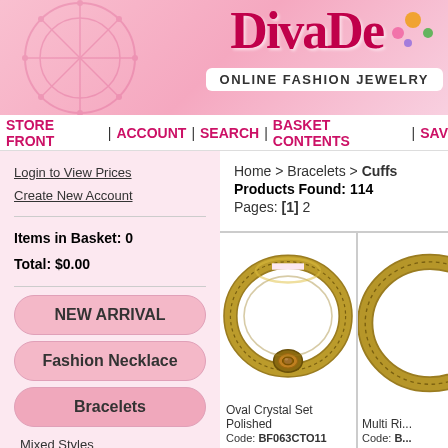[Figure (logo): DivaDe Online Fashion Jewelry website header with pink floral background and logo]
STORE FRONT | ACCOUNT | SEARCH | BASKET CONTENTS | SAV...
Login to View Prices
Create New Account
Items in Basket: 0
Total: $0.00
NEW ARRIVAL
Fashion Necklace
Bracelets
Mixed Styles
Cuffs
Straps
Home > Bracelets > Cuffs
Products Found: 114
Pages: [1] 2
[Figure (photo): Oval Crystal Set Polished gold-tone bangle bracelet with brown crystal center stone]
Oval Crystal Set Polished
Code: BF063CTO11
[Figure (photo): Multi Ring gold-tone bracelet (partially visible)]
Multi Ri...
Code: B...